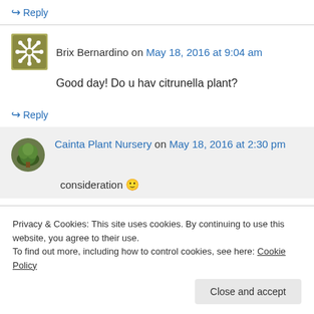↪ Reply
Brix Bernardino on May 18, 2016 at 9:04 am
Good day! Do u hav citrunella plant?
↪ Reply
Cainta Plant Nursery on May 18, 2016 at 2:30 pm
consideration 🙂
Privacy & Cookies: This site uses cookies. By continuing to use this website, you agree to their use. To find out more, including how to control cookies, see here: Cookie Policy
Close and accept